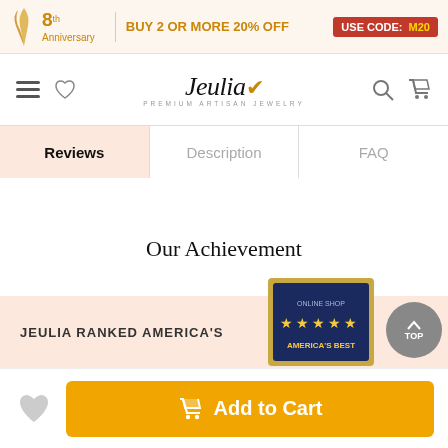8th Anniversary | BUY 2 OR MORE 20% OFF | USE CODE: M20
[Figure (logo): Jeulia Premium Artisan Jewelry logo with navigation icons]
Reviews | Description | FAQ
Our Achievement
JEULIA RANKED AMERICA'S
[Figure (illustration): America's Best award badge with stars on navy background]
Add to Cart